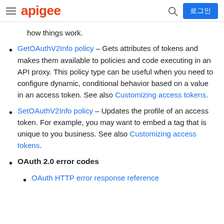apigee | 로그인
how things work.
GetOAuthV2Info policy – Gets attributes of tokens and makes them available to policies and code executing in an API proxy. This policy type can be useful when you need to configure dynamic, conditional behavior based on a value in an access token. See also Customizing access tokens.
SetOAuthV2Info policy – Updates the profile of an access token. For example, you may want to embed a tag that is unique to you business. See also Customizing access tokens.
OAuth 2.0 error codes
OAuth HTTP error response reference